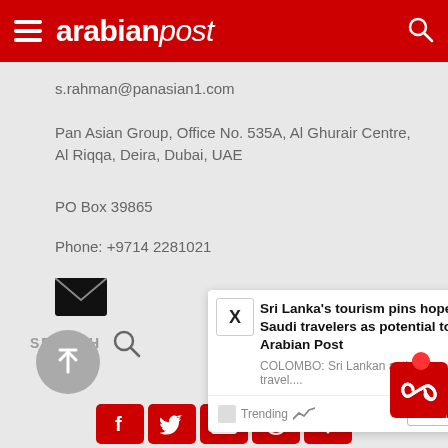arabianpost
s.rahman@panasian1.com
Pan Asian Group, Office No. 535A, Al Ghurair Centre, Al Riqqa, Deira, Dubai, UAE
PO Box 39865
Phone: +9714 2281021
[Figure (infographic): Email envelope icon (black)]
[Figure (infographic): Notification popup showing article: Sri Lanka's tourism pins hopes on Saudi travelers as potential top | Arabian Post. COLOMBO: Sri Lankan authorities and travel.... Trending Read Next buttons.]
[Figure (infographic): Search area with SEARCH label and magnifying glass icon]
[Figure (infographic): Infinity loop icon badge with notification red dot, back to top button, and social share bar with Facebook, Twitter, email, WhatsApp, and plus icons]